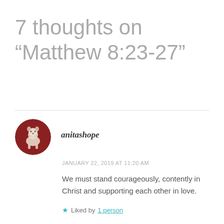7 thoughts on “Matthew 8:23-27”
anitashope
JANUARY 22, 2019 AT 11:20 AM
We must stand courageously, contently in Christ and supporting each other in love.
Liked by 1 person